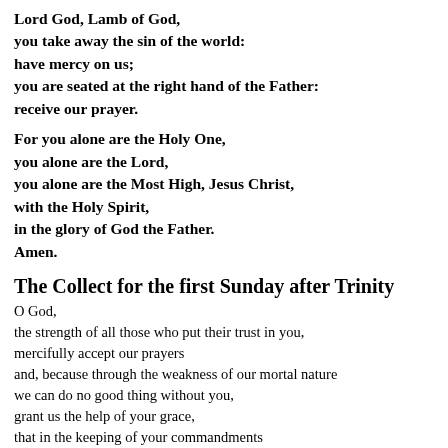Lord God, Lamb of God,
you take away the sin of the world:
have mercy on us;
you are seated at the right hand of the Father:
receive our prayer.
For you alone are the Holy One,
you alone are the Lord,
you alone are the Most High, Jesus Christ,
with the Holy Spirit,
in the glory of God the Father.
Amen.
The Collect for the first Sunday after Trinity
O God,
the strength of all those who put their trust in you,
mercifully accept our prayers
and, because through the weakness of our mortal nature
we can do no good thing without you,
grant us the help of your grace,
that in the keeping of your commandments
we may please you both in will and deed;
through Jesus Christ your Son our Lord,
who is alive and reigns with you,
in the unity of the Holy Spirit,
one God, now and for ever.